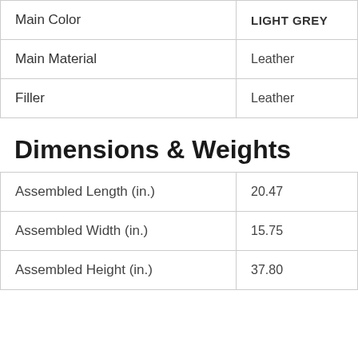| Main Color | LIGHT GREY |
| Main Material | Leather |
| Filler | Leather |
Dimensions & Weights
| Assembled Length (in.) | 20.47 |
| Assembled Width (in.) | 15.75 |
| Assembled Height (in.) | 37.80 |